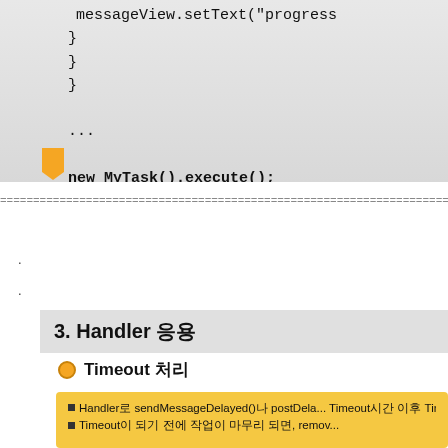[Figure (screenshot): Code block showing closing braces, ellipsis, and 'new MyTask().execute();' in a gray code editor style box with an orange tab]
================================================================
.
.
3. Handler 응용
Timeout 처리
Handler로 sendMessageDelayed()나 postDela... Timeout시간 이후 Timeout처리를 하도록 메시지... Timeout이 되기 전에 작업이 마무리 되면, remov...